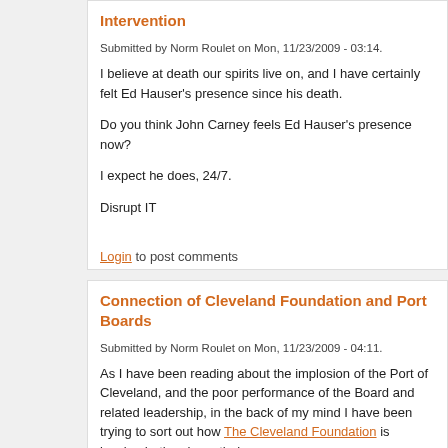Intervention
Submitted by Norm Roulet on Mon, 11/23/2009 - 03:14.
I believe at death our spirits live on, and I have certainly felt Ed Hauser's presence since his death.
Do you think John Carney feels Ed Hauser's presence now?
I expect he does, 24/7.
Disrupt IT
Login to post comments
Connection of Cleveland Foundation and Port Boards
Submitted by Norm Roulet on Mon, 11/23/2009 - 04:11.
As I have been reading about the implosion of the Port of Cleveland, and the poor performance of the Board and related leadership, in the back of my mind I have been trying to sort out how The Cleveland Foundation is involved - they have their